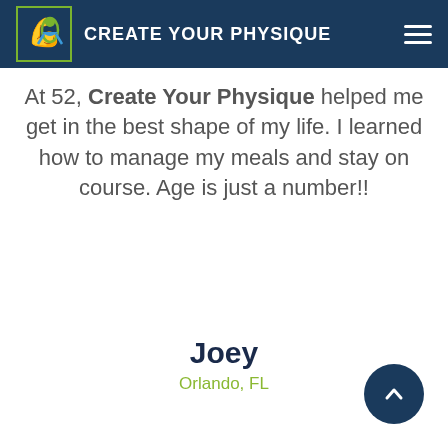CREATE YOUR PHYSIQUE
At 52, Create Your Physique helped me get in the best shape of my life. I learned how to manage my meals and stay on course. Age is just a number!!
Joey
Orlando, FL